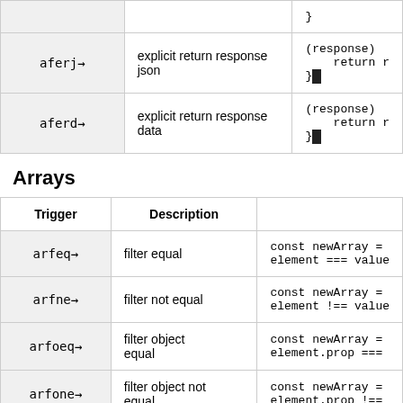| Trigger | Description |  |
| --- | --- | --- |
|  |  | } |
| aferj→ | explicit return response json | (response)
    return r
}■ |
| aferd→ | explicit return response data | (response)
    return r
}■ |
Arrays
| Trigger | Description |  |
| --- | --- | --- |
| arfeq→ | filter equal | const newArray =
element === value |
| arfne→ | filter not equal | const newArray =
element !== value |
| arfoeq→ | filter object equal | const newArray =
element.prop === |
| arfone→ | filter object not equal | const newArray =
element.prop !== |